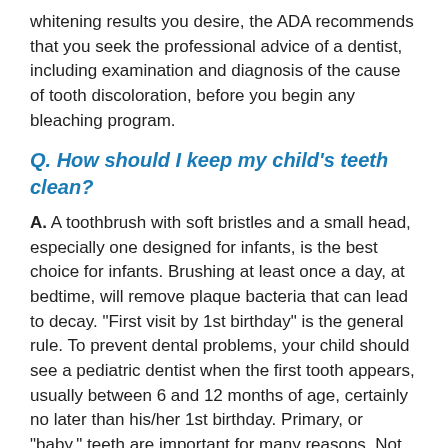whitening results you desire, the ADA recommends that you seek the professional advice of a dentist, including examination and diagnosis of the cause of tooth discoloration, before you begin any bleaching program.
Q. How should I keep my child's teeth clean?
A. A toothbrush with soft bristles and a small head, especially one designed for infants, is the best choice for infants. Brushing at least once a day, at bedtime, will remove plaque bacteria that can lead to decay. "First visit by 1st birthday" is the general rule. To prevent dental problems, your child should see a pediatric dentist when the first tooth appears, usually between 6 and 12 months of age, certainly no later than his/her 1st birthday. Primary, or "baby," teeth are important for many reasons. Not only do they help children speak clearly and chew naturally, they also aid in forming a path that permanent teeth can follow when they are ready to erupt. Some of them are necessary until a child is 12 years